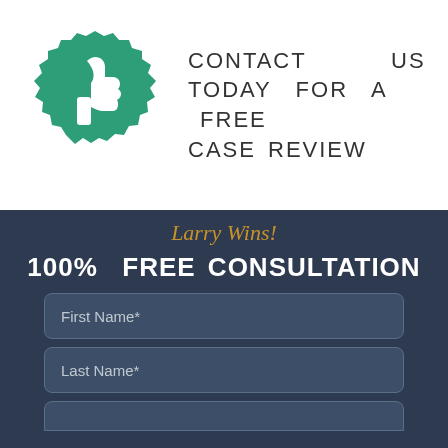[Figure (logo): Green toothed-circle seal badge with white thumbs-up icon]
CONTACT US TODAY FOR A FREE CASE REVIEW
Larry Wins!
100% FREE CONSULTATION
First Name*
Last Name*